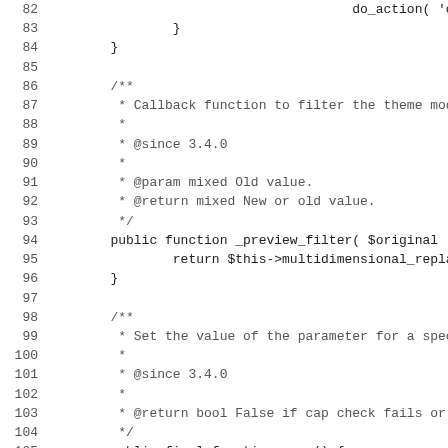[Figure (screenshot): Source code listing in monospace font showing PHP class methods with line numbers 82-114, including _preview_filter and save functions with PHPDoc comments.]